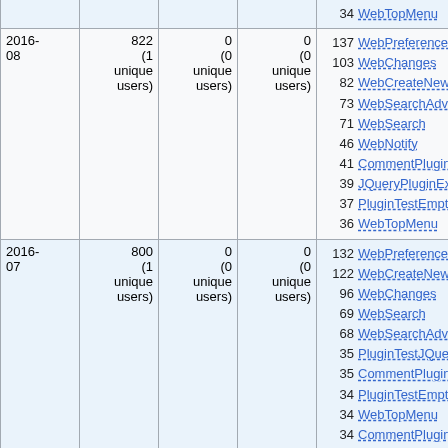| Month | Views | Edits | Contributors | Top pages |
| --- | --- | --- | --- | --- |
|  |  |  |  | 34 WebTopMenu |
| 2016-08 | 822 (1 unique users) | 0 (0 unique users) | 0 (0 unique users) | 137 WebPreferences
103 WebChanges
82 WebCreateNewTopic
73 WebSearchAdvanced
71 WebSearch
46 WebNotify
41 CommentPluginTempla...
39 JQueryPluginExamples
37 PluginTestEmptyPlugin
36 WebTopMenu |
| 2016-07 | 800 (1 unique users) | 0 (0 unique users) | 0 (0 unique users) | 132 WebPreferences
122 WebCreateNewTopic
96 WebChanges
69 WebSearch
68 WebSearchAdvanced
35 PluginTestJQueryPlugin
35 CommentPluginTempla...
34 PluginTestEmptyPlugin
34 WebTopMenu
34 CommentPluginExampl... |
| 2016- | 302 | 0 | 0 | 39 WebPreferences |